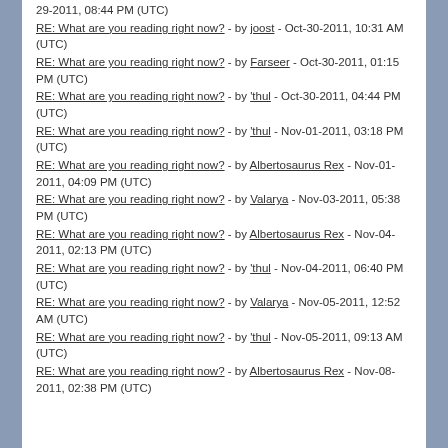29-2011, 08:44 PM (UTC)
RE: What are you reading right now? - by joost - Oct-30-2011, 10:31 AM (UTC)
RE: What are you reading right now? - by Farseer - Oct-30-2011, 01:15 PM (UTC)
RE: What are you reading right now? - by 'thul - Oct-30-2011, 04:44 PM (UTC)
RE: What are you reading right now? - by 'thul - Nov-01-2011, 03:18 PM (UTC)
RE: What are you reading right now? - by Albertosaurus Rex - Nov-01-2011, 04:09 PM (UTC)
RE: What are you reading right now? - by Valarya - Nov-03-2011, 05:38 PM (UTC)
RE: What are you reading right now? - by Albertosaurus Rex - Nov-04-2011, 02:13 PM (UTC)
RE: What are you reading right now? - by 'thul - Nov-04-2011, 06:40 PM (UTC)
RE: What are you reading right now? - by Valarya - Nov-05-2011, 12:52 AM (UTC)
RE: What are you reading right now? - by 'thul - Nov-05-2011, 09:13 AM (UTC)
RE: What are you reading right now? - by Albertosaurus Rex - Nov-08-2011, 02:38 PM (UTC)